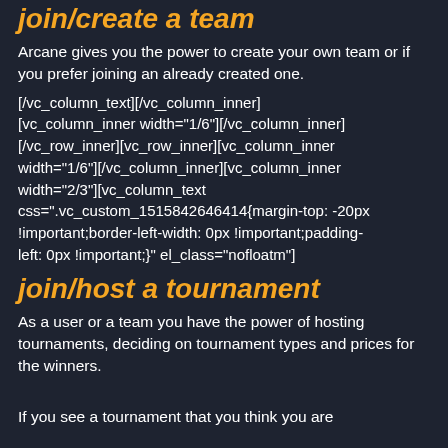join/create a team
Arcane gives you the power to create your own team or if you prefer joining an already created one.
[/vc_column_text][/vc_column_inner][vc_column_inner width="1/6"][/vc_column_inner][/vc_row_inner][vc_row_inner][vc_column_inner width="1/6"][/vc_column_inner][vc_column_inner width="2/3"][vc_column_text css=".vc_custom_1515842646414{margin-top: -20px !important;border-left-width: 0px !important;padding-left: 0px !important;}" el_class="nofloatm"]
join/host a tournament
As a user or a team you have the power of hosting tournaments, deciding on tournament types and prices for the winners.
If you see a tournament that you think you are